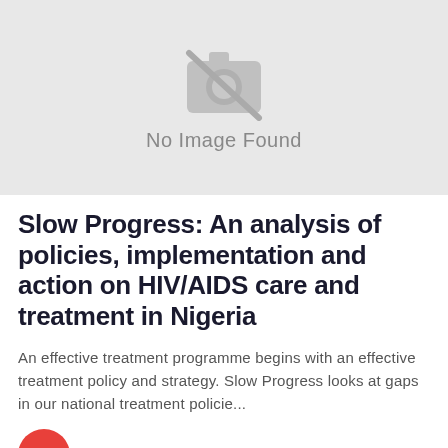[Figure (illustration): Placeholder image area with a camera icon crossed out and text 'No Image Found' on a light grey background]
Slow Progress: An analysis of policies, implementation and action on HIV/AIDS care and treatment in Nigeria
An effective treatment programme begins with an effective treatment policy and strategy. Slow Progress looks at gaps in our national treatment policie...
JAAIDS MEDIA  –